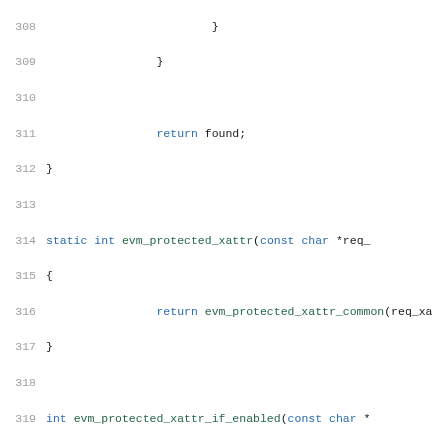[Figure (screenshot): Source code listing showing C code lines 308-329, including function definitions for evm_protected_xattr and evm_protected_xattr_if_enabled, and beginning of a doc comment for evm_read_protected_xattrs]